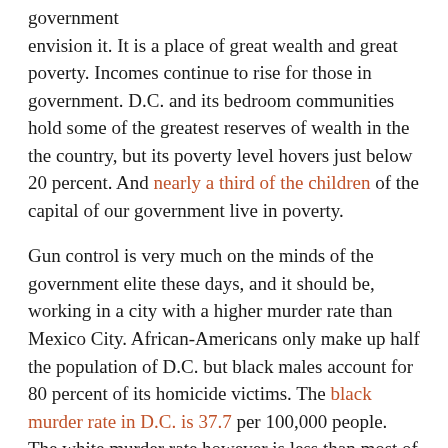government envision it. It is a place of great wealth and great poverty. Incomes continue to rise for those in government. D.C. and its bedroom communities hold some of the greatest reserves of wealth in the the country, but its poverty level hovers just below 20 percent. And nearly a third of the children of the capital of our government live in poverty.
Gun control is very much on the minds of the government elite these days, and it should be, working in a city with a higher murder rate than Mexico City. African-Americans only make up half the population of D.C. but black males account for 80 percent of its homicide victims. The black murder rate in D.C. is 37.7 per 100,000 people. The white murder rate however is less than most of the rest of the country. Guns are used in the vast majority of those killings.